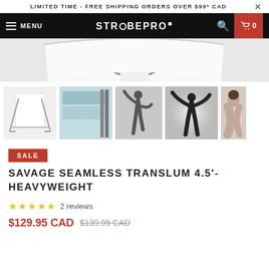LIMITED TIME - FREE SHIPPING ORDERS OVER $99* CAD
STROBEPRO  MENU  0
[Figure (photo): Main product image: white translum backdrop on stands, top portion visible]
[Figure (photo): Thumbnail 1: white backdrop on stand]
[Figure (photo): Thumbnail 2: blue/teal rolls of translum paper]
[Figure (photo): Thumbnail 3: silhouette of dancing woman on translum background]
[Figure (photo): Thumbnail 4: silhouette of person with arms raised, glowing backlight]
[Figure (photo): Thumbnail 5: partial view of woman's back]
SALE
SAVAGE SEAMLESS TRANSLUM 4.5'-HEAVYWEIGHT
★★★★★ 2 reviews
$129.95 CAD  $139.95 CAD